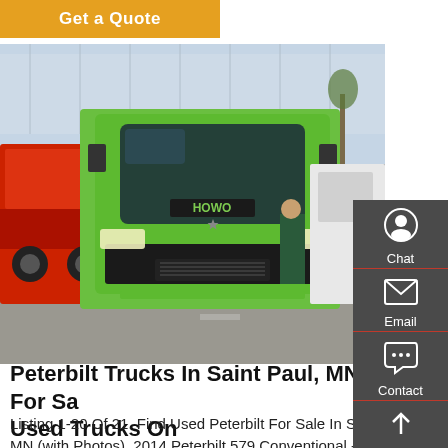Get a Quote
[Figure (photo): A green HOWO semi-truck (cab-over style) parked in a lot with a red truck visible on the left and white trucks in the background. People visible in background.]
Peterbilt Trucks In Saint Paul, MN For Sale | Used Trucks On
Listing 1-20 Of 21. Find Used Peterbilt For Sale In Saint Paul, MN (with Photos). 2014 Peterbilt 579 Conventional - Sleeper